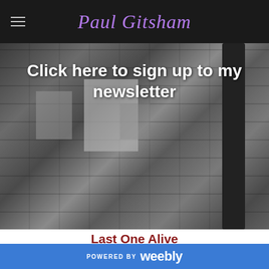Paul Gitsham
[Figure (photo): Black and white photo of stone/brick wall with vertical pillar, overlaid with white bold text reading 'Click here to sign up to my newsletter']
Last One Alive
13/9/2021   0 Comments
Last One Alive (Kjeld Nygaard 2) Karin Nordin
POWERED BY weebly